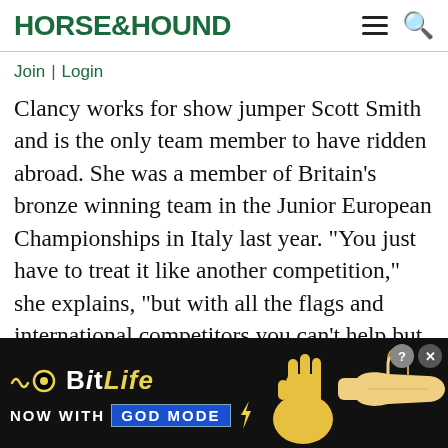HORSE&HOUND
Join | Login
Clancy works for show jumper Scott Smith and is the only team member to have ridden abroad. She was a member of Britain’s bronze winning team in the Junior European Championships in Italy last year. “You just have to treat it like another competition,” she explains, “but with all the flags and international competitors you can’t help but notice the different atmosphere.” Clancy, 17,
[Figure (screenshot): BitLife advertisement banner with 'NOW WITH GOD MODE' text, yellow thumbs up graphic, and hand pointing graphic on black background]